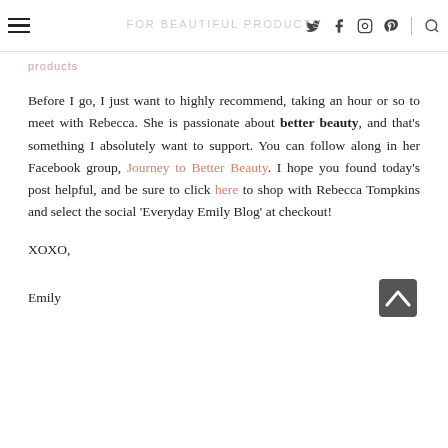for beautiful products — social icons (Twitter, Facebook, Instagram, Pinterest, Search)
products
Before I go, I just want to highly recommend, taking an hour or so to meet with Rebecca. She is passionate about better beauty, and that's something I absolutely want to support. You can follow along in her Facebook group, Journey to Better Beauty. I hope you found today's post helpful, and be sure to click here to shop with Rebecca Tompkins and select the social 'Everyday Emily Blog' at checkout!
XOXO,
Emily